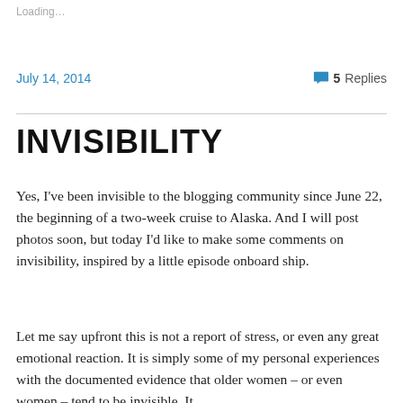Loading…
July 14, 2014
5 Replies
INVISIBILITY
Yes, I've been invisible to the blogging community since June 22, the beginning of a two-week cruise to Alaska. And I will post photos soon, but today I'd like to make some comments on invisibility, inspired by a little episode onboard ship.
Let me say upfront this is not a report of stress, or even any great emotional reaction. It is simply some of my personal experiences with the documented evidence that older women – or even women – tend to be invisible. It